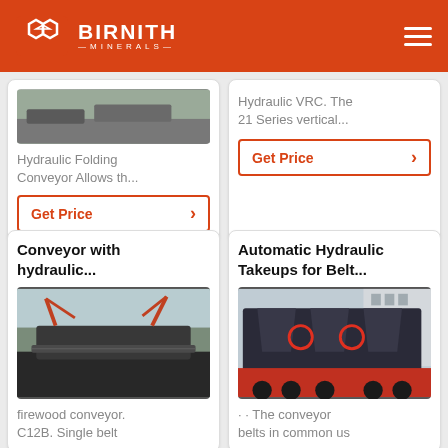BIRNITH MINERALS
[Figure (photo): Partial image of hydraulic folding conveyor]
Hydraulic Folding Conveyor Allows th...
Get Price
Hydraulic VRC. The 21 Series vertical...
Get Price
Conveyor with hydraulic...
[Figure (photo): Conveyor machinery at job site with cranes]
firewood conveyor. C12B. Single belt
Automatic Hydraulic Takeups for Belt...
[Figure (photo): Hydraulic takeup equipment on transport vehicle]
· · The conveyor belts in common us